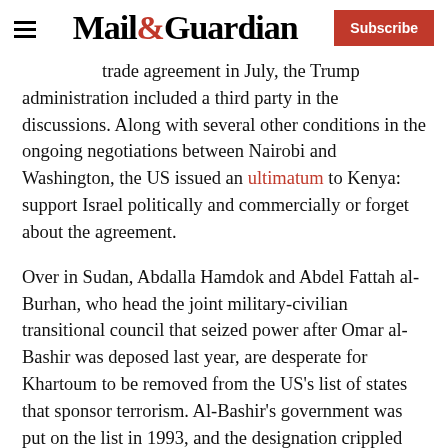Mail&Guardian | Subscribe
trade agreement in July, the Trump administration included a third party in the discussions. Along with several other conditions in the ongoing negotiations between Nairobi and Washington, the US issued an ultimatum to Kenya: support Israel politically and commercially or forget about the agreement.
Over in Sudan, Abdalla Hamdok and Abdel Fattah al-Burhan, who head the joint military-civilian transitional council that seized power after Omar al-Bashir was deposed last year, are desperate for Khartoum to be removed from the US's list of states that sponsor terrorism. Al-Bashir's government was put on the list in 1993, and the designation crippled the